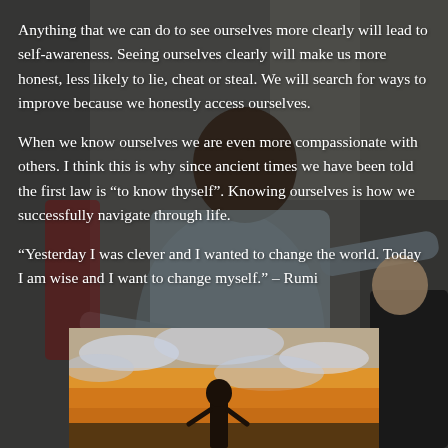[Figure (photo): Background photo of an older Black man gesturing with hands outstretched, speaking expressively, with other people visible in the background]
Anything that we can do to see ourselves more clearly will lead to self-awareness. Seeing ourselves clearly will make us more honest, less likely to lie, cheat or steal. We will search for ways to improve because we honestly access ourselves.
When we know ourselves we are even more compassionate with others. I think this is why since ancient times we have been told the first law is “to know thyself”. Knowing ourselves is how we successfully navigate through life.
“Yesterday I was clever and I wanted to change the world. Today I am wise and I want to change myself.” – Rumi
[Figure (photo): Photo of a person silhouetted against a dramatic cloudy sunset sky]